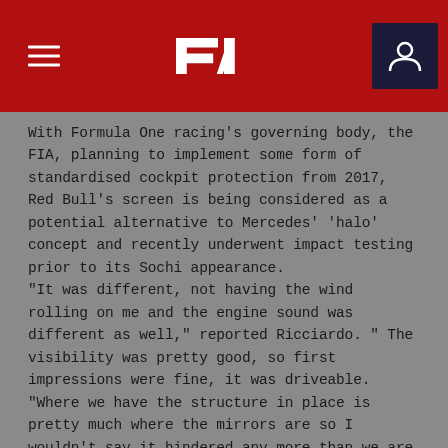F1 Header Navigation
With Formula One racing's governing body, the FIA, planning to implement some form of standardised cockpit protection from 2017, Red Bull's screen is being considered as a potential alternative to Mercedes' 'halo' concept and recently underwent impact testing prior to its Sochi appearance.
“It was different, not having the wind rolling on me and the engine sound was different as well,” reported Ricciardo. “ The visibility was pretty good, so first impressions were fine, it was driveable.
“Where we have the structure in place is pretty much where the mirrors are so I wouldn’t say it hindered any more than we are now in terms of visibility. Peripheral vision was fine as well.”
A mock-up of the halo appeared on Ferrari’s cars earlier this year in pre-season testing, prompting mixed reactions from the paddock, with opinion particularly divided over the